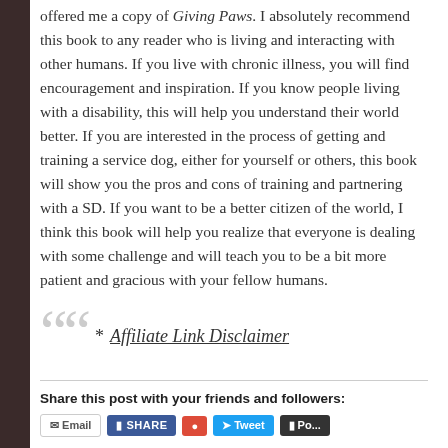offered me a copy of Giving Paws. I absolutely recommend this book to any reader who is living and interacting with other humans. If you live with chronic illness, you will find encouragement and inspiration. If you know people living with a disability, this will help you understand their world better. If you are interested in the process of getting and training a service dog, either for yourself or others, this book will show you the pros and cons of training and partnering with a SD. If you want to be a better citizen of the world, I think this book will help you realize that everyone is dealing with some challenge and will teach you to be a bit more patient and gracious with your fellow humans.
* Affiliate Link Disclaimer
Share this post with your friends and followers: